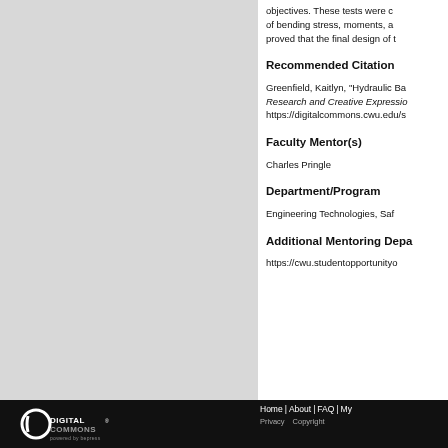objectives. These tests were c... of bending stress, moments, a... proved that the final design of t...
Recommended Citation
Greenfield, Kaitlyn, "Hydraulic Ba... Research and Creative Expressio... https://digitalcommons.cwu.edu/s...
Faculty Mentor(s)
Charles Pringle
Department/Program
Engineering Technologies, Saf...
Additional Mentoring Depa...
https://cwu.studentopportunityo...
Home | About | FAQ | My... Privacy  Copyright